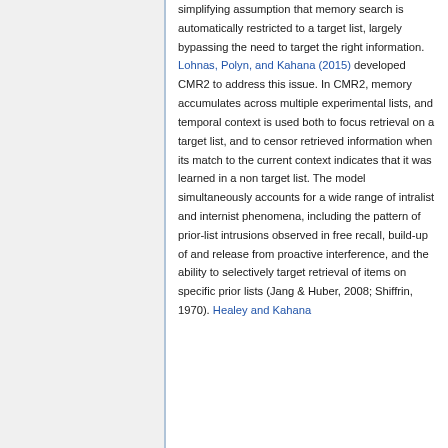simplifying assumption that memory search is automatically restricted to a target list, largely bypassing the need to target the right information. Lohnas, Polyn, and Kahana (2015) developed CMR2 to address this issue. In CMR2, memory accumulates across multiple experimental lists, and temporal context is used both to focus retrieval on a target list, and to censor retrieved information when its match to the current context indicates that it was learned in a non target list. The model simultaneously accounts for a wide range of intralist and internist phenomena, including the pattern of prior-list intrusions observed in free recall, build-up of and release from proactive interference, and the ability to selectively target retrieval of items on specific prior lists (Jang & Huber, 2008; Shiffrin, 1970). Healey and Kahana